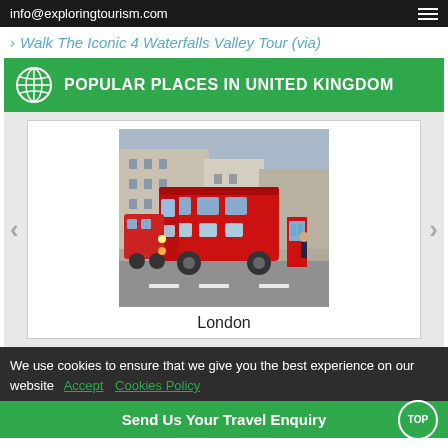info@exploringtourism.com
Walk The Iconic 4 Waterfalls Valley Tour (via)
POPULAR PLACES IN UNITED KINGDOM
[Figure (photo): A red double-decker London bus on a city street with buildings in background]
London
We use cookies to ensure that we give you the best experience on our website  Accept  Cookies Policy
Send Us Your Travel Enquiry